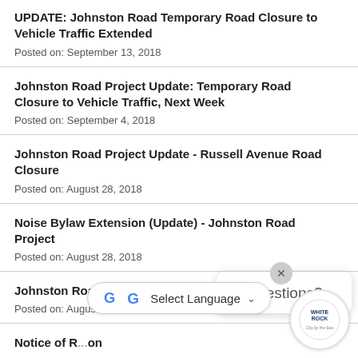UPDATE: Johnston Road Temporary Road Closure to Vehicle Traffic Extended
Posted on: September 13, 2018
Johnston Road Project Update: Temporary Road Closure to Vehicle Traffic, Next Week
Posted on: September 4, 2018
Johnston Road Project Update - Russell Avenue Road Closure
Posted on: August 28, 2018
Noise Bylaw Extension (Update) - Johnston Road Project
Posted on: August 28, 2018
Johnston Road Project Update - Fortis BC
Posted on: August 10, 2018
Notice of R... on
Posted on: August 8, 2018